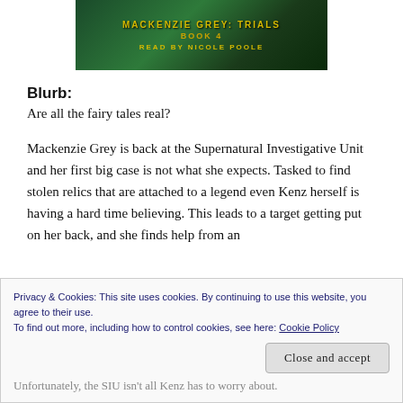[Figure (illustration): Book cover for Mackenzie Grey: Trials, Book 4, Read by Nicole Poole. Dark green atmospheric background with gold text.]
Blurb:
Are all the fairy tales real?
Mackenzie Grey is back at the Supernatural Investigative Unit and her first big case is not what she expects. Tasked to find stolen relics that are attached to a legend even Kenz herself is having a hard time believing. This leads to a target getting put on her back, and she finds help from an
Unfortunately, the SIU isn't all Kenz has to worry about.
Privacy & Cookies: This site uses cookies. By continuing to use this website, you agree to their use.
To find out more, including how to control cookies, see here: Cookie Policy
Close and accept